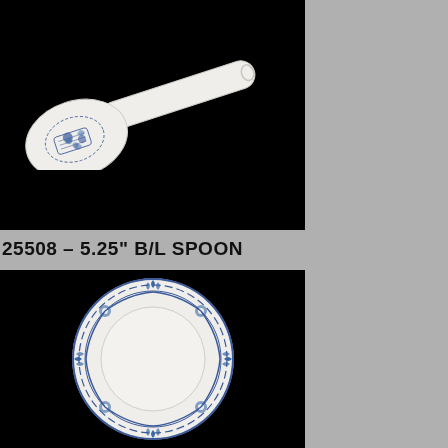[Figure (photo): White ceramic Chinese soup spoon with blue floral/botanical decoration on the bowl, photographed on black background]
25508 – 5.25" B/L SPOON
[Figure (photo): White ceramic round plate/dish with blue floral and scrollwork border decoration, photographed on black background, viewed from above]